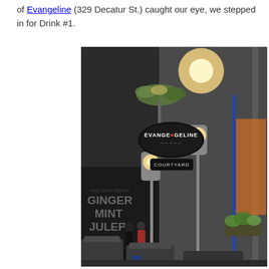of Evangeline (329 Decatur St.) caught our eye, we stepped in for Drink #1.
[Figure (photo): Nighttime street photo showing the exterior of Evangeline restaurant/bar at 329 Decatur St. A black oval sign reads 'EVANGELINE' with a Louisiana state shape logo, and below it a smaller sign reads 'COURTYARD'. Gas-style street lamps illuminate the scene. In the background, text painted on a wall reads 'GINGER MINT JULEP'. Pedestrians walk in the background, and outdoor wicker chairs are visible in the foreground.]